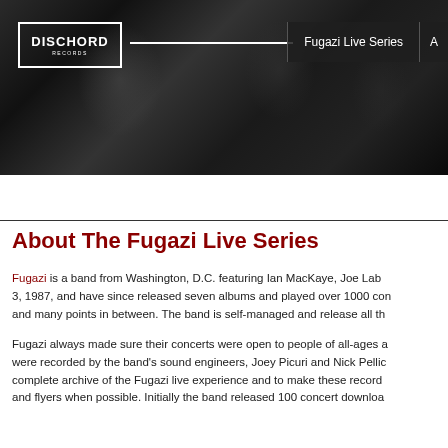[Figure (photo): Black and white photo of band members playing instruments, used as header banner background]
DISCHORD | Fugazi Live Series | A
About The Fugazi Live Series
Fugazi is a band from Washington, D.C. featuring Ian MacKaye, Joe Lab... 3, 1987, and have since released seven albums and played over 1000 con... and many points in between. The band is self-managed and release all th...
Fugazi always made sure their concerts were open to people of all-ages a... were recorded by the band's sound engineers, Joey Picuri and Nick Pellic... complete archive of the Fugazi live experience and to make these record... and flyers when possible. Initially the band released 100 concert downloa...